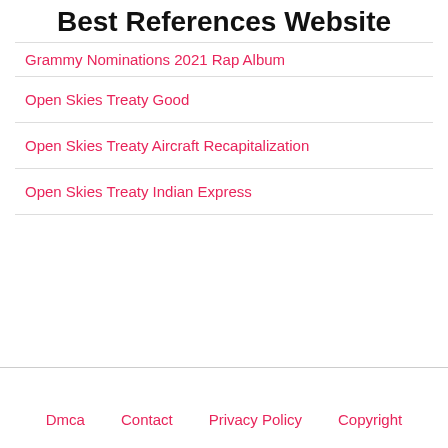Best References Website
Grammy Nominations 2021 Rap Album
Open Skies Treaty Good
Open Skies Treaty Aircraft Recapitalization
Open Skies Treaty Indian Express
Dmca   Contact   Privacy Policy   Copyright